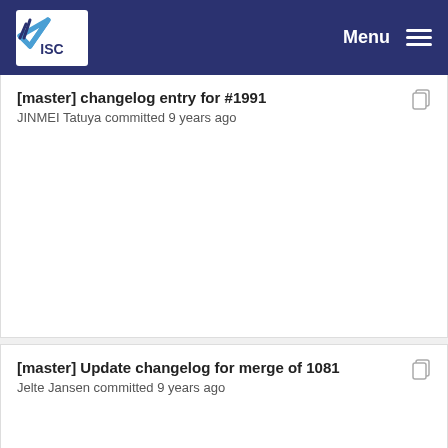ISC — Menu
[master] changelog entry for #1991
JINMEI Tatuya committed 9 years ago
[master] Update changelog for merge of 1081
Jelte Jansen committed 9 years ago
[master] changelog style: adding "git" before the ...
JINMEI Tatuya committed 9 years ago
[master] Update changelog for merge of 1081